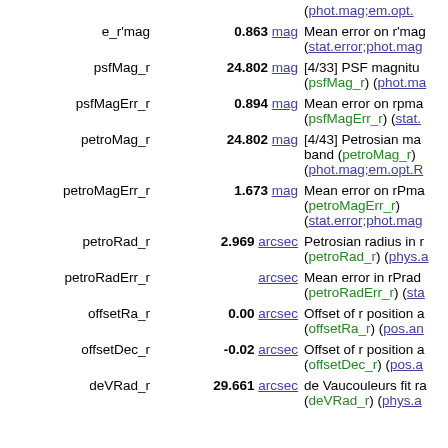| Field | Value | Description |
| --- | --- | --- |
|  | (phot.mag;em.opt. |  |
| e_r'mag | 0.863 mag | Mean error on r'mag (stat.error;phot.mag |
| psfMag_r | 24.802 mag | [4/33] PSF magnitude (psfMag_r) (phot.ma |
| psfMagErr_r | 0.894 mag | Mean error on rpmag (psfMagErr_r) (stat. |
| petroMag_r | 24.802 mag | [4/43] Petrosian mag r band (petroMag_r) (phot.mag;em.opt.R |
| petroMagErr_r | 1.673 mag | Mean error on rPmag (petroMagErr_r) (stat.error;phot.mag |
| petroRad_r | 2.969 arcsec | Petrosian radius in r (petroRad_r) (phys.a |
| petroRadErr_r | arcsec | Mean error in rPrad (petroRadErr_r) (sta |
| offsetRa_r | 0.00 arcsec | Offset of r position a (offsetRa_r) (pos.an |
| offsetDec_r | -0.02 arcsec | Offset of r position a (offsetDec_r) (pos.a |
| deVRad_r | 29.661 arcsec | de Vaucouleurs fit ra (deVRad_r) (phys.a |